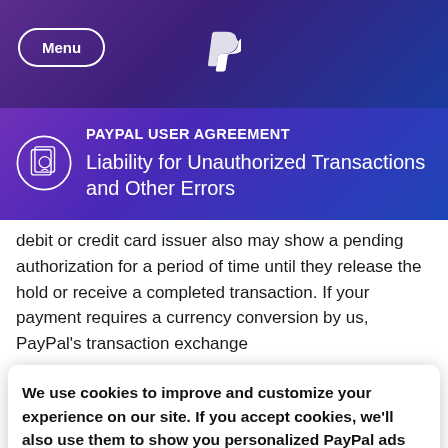Menu | PayPal
PAYPAL USER AGREEMENT
Liability for Unauthorized Transactions and Other Errors
debit or credit card issuer also may show a pending authorization for a period of time until they release the hold or receive a completed transaction. If your payment requires a currency conversion by us, PayPal's transaction exchange
We use cookies to improve and customize your experience on our site. If you accept cookies, we'll also use them to show you personalized PayPal ads when you visit other sites. Manage cookies and learn more
Accept | Decline